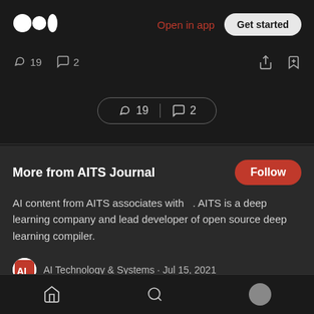[Figure (screenshot): Medium app logo (three circles) in white on dark background]
Open in app
Get started
👏 19   💬 2
[Figure (infographic): Pill-shaped bar showing 👏 19 | 💬 2]
More from AITS Journal
Follow
AI content from AITS associates with   . AITS is a deep learning company and lead developer of open source deep learning compiler.
AI Technology & Systems · Jul 15, 2021
[Figure (logo): AI Technology & Systems logo — red and white square icon]
Home  Search  Profile